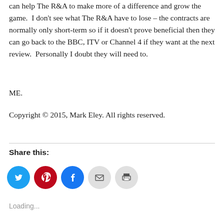can help The R&A to make more of a difference and grow the game.  I don't see what The R&A have to lose – the contracts are normally only short-term so if it doesn't prove beneficial then they can go back to the BBC, ITV or Channel 4 if they want at the next review.  Personally I doubt they will need to.
ME.
Copyright © 2015, Mark Eley. All rights reserved.
Share this:
[Figure (other): Social sharing icon buttons: Twitter (blue), Pinterest (red), Facebook (blue), Email (grey), Print (grey)]
Loading...